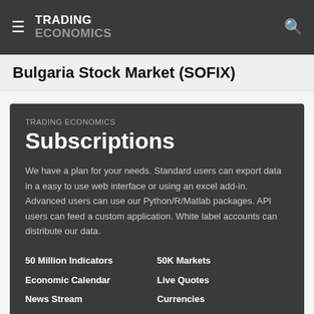TRADING ECONOMICS
Bulgaria Stock Market (SOFIX)
TRADING ECONOMICS
Subscriptions
We have a plan for your needs. Standard users can export data in a easy to use web interface or using an excel add-in. Advanced users can use our Python/R/Matlab packages. API users can feed a custom application. White label accounts can distribute our data.
50 Million Indicators
50K Markets
Economic Calendar
Live Quotes
News Stream
Currencies
Earnings Releases
Stocks
Credit Ratings
Commodities